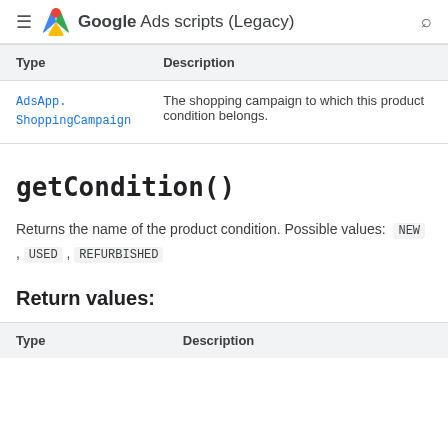Google Ads scripts (Legacy)
| Type | Description |
| --- | --- |
| AdsApp.ShoppingCampaign | The shopping campaign to which this product condition belongs. |
getCondition()
Returns the name of the product condition. Possible values: NEW , USED , REFURBISHED
Return values:
| Type | Description |
| --- | --- |